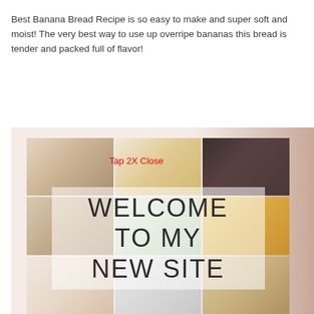Best Banana Bread Recipe is so easy to make and super soft and moist! The very best way to use up overripe bananas this bread is tender and packed full of flavor!
[Figure (photo): A collage of food photos arranged in a 3x3 grid with 'WELCOME TO MY NEW SITE' text overlay on a semi-transparent white background. A 'Tap 2X Close' red text label is visible at the top. The right side shows a blurred brownish-pink background.]